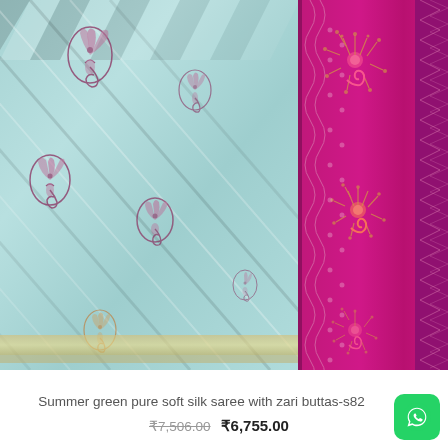[Figure (photo): Folded summer green (teal/light blue) pure soft silk saree with pink/magenta zari border. The saree body shows multiple diagonal folds with intricate floral/peacock motif buttas (embroidered designs with spiral and feather patterns). The border on the right side is dark pink/magenta with woven zari geometric and floral patterns.]
Summer green pure soft silk saree with zari buttas-s82
₹7,506.00  ₹6,755.00